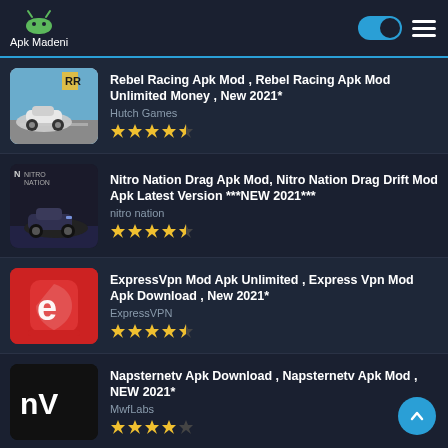Apk Madeni
Rebel Racing Apk Mod , Rebel Racing Apk Mod Unlimited Money , New 2021* — Hutch Games — ★★★★½
Nitro Nation Drag Apk Mod, Nitro Nation Drag Drift Mod Apk Latest Version ***NEW 2021*** — nitro nation — ★★★★½
ExpressVpn Mod Apk Unlimited , Express Vpn Mod Apk Download , New 2021* — ExpressVPN — ★★★★½
Napsternetv Apk Download , Napsternetv Apk Mod , NEW 2021* — MwfLabs — ★★★★☆